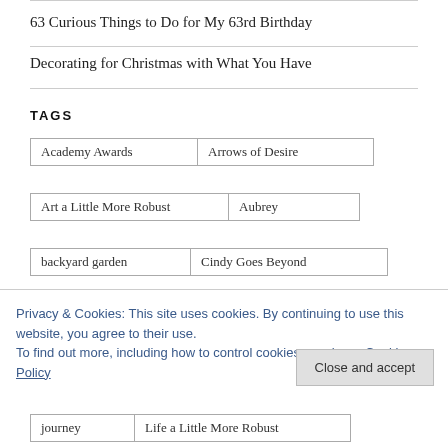63 Curious Things to Do for My 63rd Birthday
Decorating for Christmas with What You Have
TAGS
Academy Awards
Arrows of Desire
Art a Little More Robust
Aubrey
backyard garden
Cindy Goes Beyond
Creativity
Davan
Enchantment
family
Privacy & Cookies: This site uses cookies. By continuing to use this website, you agree to their use.
To find out more, including how to control cookies, see here: Cookie Policy
journey
Life a Little More Robust